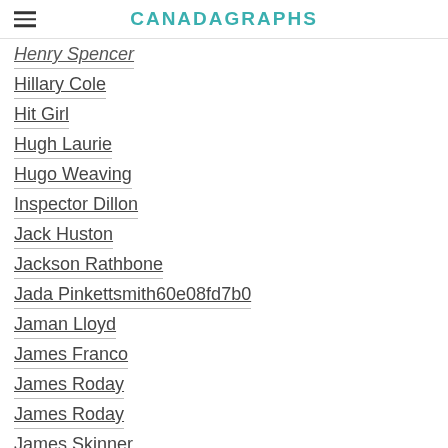CANADAGRAPHS
Henry Spencer
Hillary Cole
Hit Girl
Hugh Laurie
Hugo Weaving
Inspector Dillon
Jack Huston
Jackson Rathbone
Jada Pinkettsmith60e08fd7b0
Jaman Lloyd
James Franco
James Roday
James Roday
James Skinner
James Van Der Beek